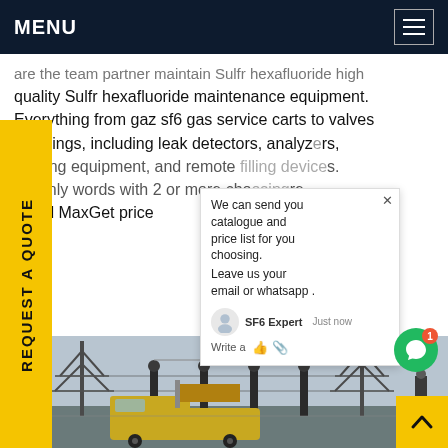MENU
are the team partner maintain Sulfr hexafluoride high quality Sulfr hexafluoride maintenance equipment. Everything from gaz sf6 gas service carts to valves couplings, including leak detectors, analyzers, nitoring equipment, and remote filling devices. es Only words with 2 or more cho epted MaxGet price
REQUEST A QUOTE
We can send you catalogue and price list for you choosing. Leave us your email or whatsapp .
SF6 Expert   Just now
Write a
[Figure (photo): Electrical substation with SF6 maintenance service vehicle/truck parked in front of high voltage transmission towers and equipment.]
^